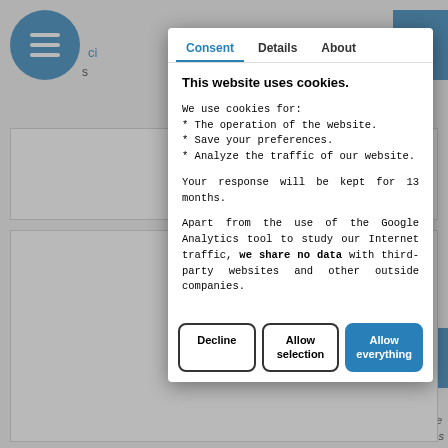[Figure (screenshot): Cookie consent modal dialog overlaid on a website page. The modal has three tabs: Consent (active, in blue), Details, and About. Content explains cookie usage and data sharing policy. Three buttons at bottom: Decline, Allow selection, Allow everything (blue).]
This website uses cookies.
We use cookies for:
* The operation of the website.
* Save your preferences.
* Analyze the traffic of our website.
Your response will be kept for 13 months.
Apart from the use of the Google Analytics tool to study our Internet traffic, we share no data with third-party websites and other outside companies.
Decline
Allow selection
Allow everything